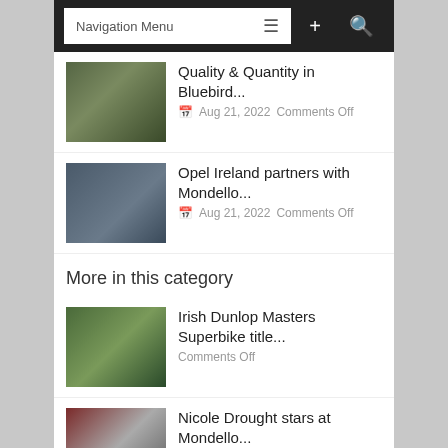Navigation Menu
Quality & Quantity in Bluebird... Aug 21, 2022  Comments Off
Opel Ireland partners with Mondello... Aug 21, 2022  Comments Off
More in this category
Irish Dunlop Masters Superbike title... Comments Off
Nicole Drought stars at Mondello... Comments Off